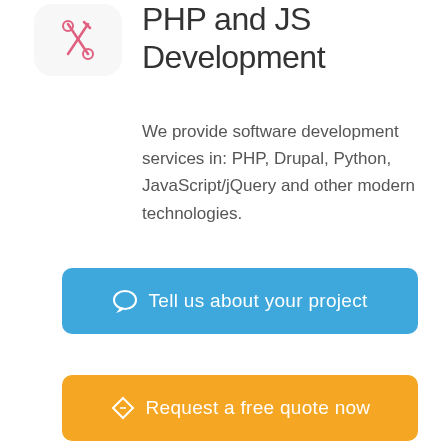[Figure (illustration): Pink/red tools icon (screwdriver and wrench crossed) inside a rounded square box]
PHP and JS Development
We provide software development services in: PHP, Drupal, Python, JavaScript/jQuery and other modern technologies.
Tell us about your project
Request a free quote now